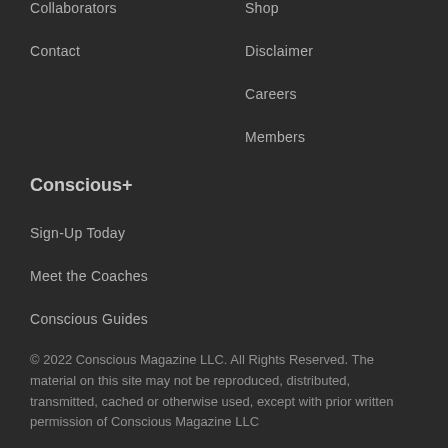Collaborators
Contact
Shop
Disclaimer
Careers
Members
Conscious+
Sign-Up Today
Meet the Coaches
Conscious Guides
© 2022 Conscious Magazine LLC. All Rights Reserved. The material on this site may not be reproduced, distributed, transmitted, cached or otherwise used, except with prior written permission of Conscious Magazine LLC